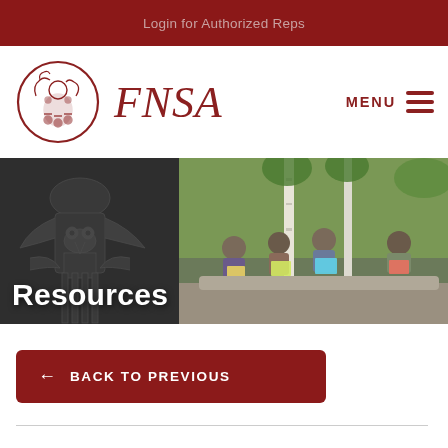Login for Authorized Reps
[Figure (logo): FNSA circular logo with indigenous art motif and FNSA italic text]
[Figure (photo): Hero banner showing children reading books outdoors with indigenous pattern overlay on left side]
Resources
← BACK TO PREVIOUS